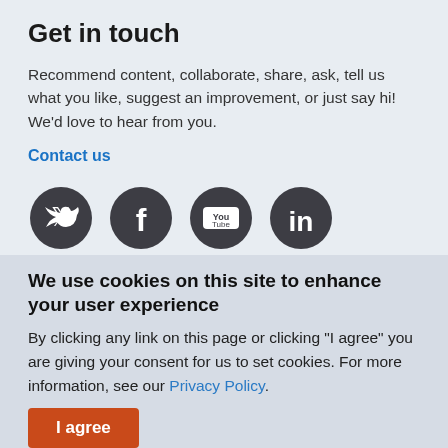Get in touch
Recommend content, collaborate, share, ask, tell us what you like, suggest an improvement, or just say hi! We'd love to hear from you.
Contact us
[Figure (other): Social media icons: Twitter, Facebook, YouTube, LinkedIn]
Help   Sitemap   Privacy policy   Terms of use
We use cookies on this site to enhance your user experience
By clicking any link on this page or clicking "I agree" you are giving your consent for us to set cookies. For more information, see our Privacy Policy.
I agree